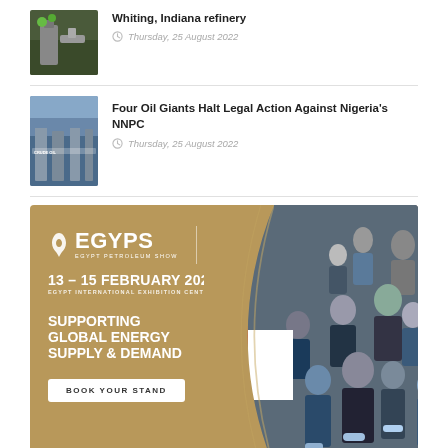[Figure (photo): Thumbnail image of Whiting Indiana oil refinery equipment]
Whiting, Indiana refinery
Thursday, 25 August 2022
[Figure (photo): Thumbnail image of oil pipeline infrastructure with crude oil text]
Four Oil Giants Halt Legal Action Against Nigeria's NNPC
Thursday, 25 August 2022
[Figure (infographic): EGYPS Egypt Petroleum Show advertisement banner. Text: EGYPS EGYPT PETROLEUM SHOW. 13 - 15 FEBRUARY 2023. EGYPT INTERNATIONAL EXHIBITION CENTER. SUPPORTING GLOBAL ENERGY SUPPLY & DEMAND. BOOK YOUR STAND. Supported by Egyptian government seal logo. Background shows crowd of conference attendees.]